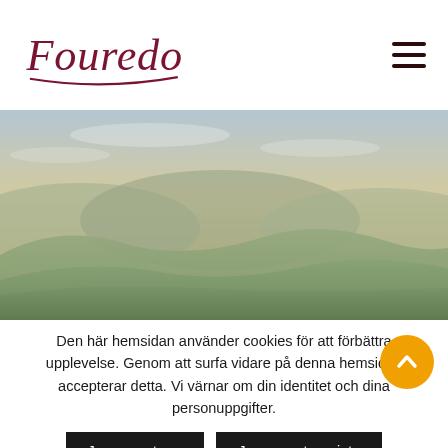Fouredo
[Figure (photo): Aerial landscape photo of rolling hills and mountains with a hazy sky at dusk — Tuscan-style scenery with layered green hills fading into the distance.]
Den här hemsidan använder cookies för att förbättra upplevelse. Genom att surfa vidare på denna hemsidan accepterar detta. Vi värnar om din identitet och dina personuppgifter.
Jag accepterar
Jag accepterar inte
Läs vår policy för integritet och personuppgifter